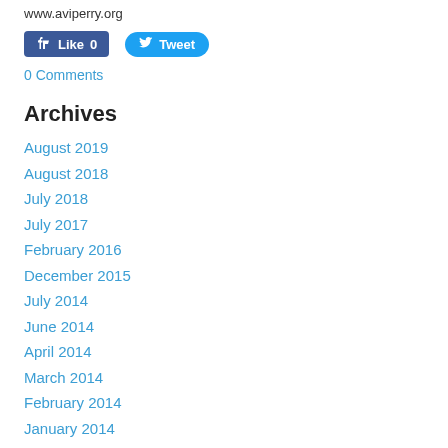www.aviperry.org
[Figure (other): Facebook Like button (0 likes) and Twitter Tweet button]
0 Comments
Archives
August 2019
August 2018
July 2018
July 2017
February 2016
December 2015
July 2014
June 2014
April 2014
March 2014
February 2014
January 2014
December 2013
October 2013